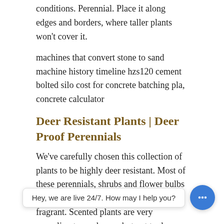conditions. Perennial. Place it along edges and borders, where taller plants won't cover it.
machines that convert stone to sand machine history timeline hzs120 cement bolted silo cost for concrete batching pla, concrete calculator
Deer Resistant Plants | Deer Proof Perennials
We've carefully chosen this collection of plants to be highly deer resistant. Most of these perennials, shrubs and flower bulbs have the added benefit of being very fragrant. Scented plants are very appealing to gardeners, but not to deer. These plants tend to be
List of Mountains Animals
Mountain habitats vary dramatically from the base to the peak of the mountains. On the mountain tops temperatur are colder, oxygen ... s climate changes, the plant and animal life between